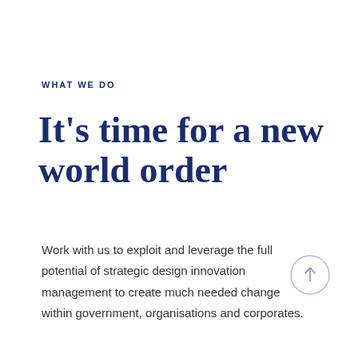WHAT WE DO
It’s time for a new world order
Work with us to exploit and leverage the full potential of strategic design innovation management to create much needed change within government, organisations and corporates.
[Figure (illustration): A circular arrow button pointing upward, with a thin light gray circle outline and a small upward-pointing arrow in the center.]